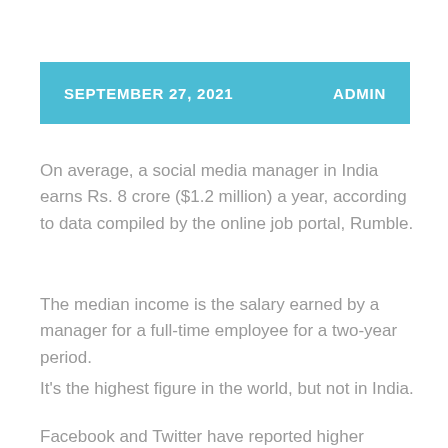SEPTEMBER 27, 2021   ADMIN
On average, a social media manager in India earns Rs. 8 crore ($1.2 million) a year, according to data compiled by the online job portal, Rumble.
The median income is the salary earned by a manager for a full-time employee for a two-year period.
It’s the highest figure in the world, but not in India.
Facebook and Twitter have reported higher median